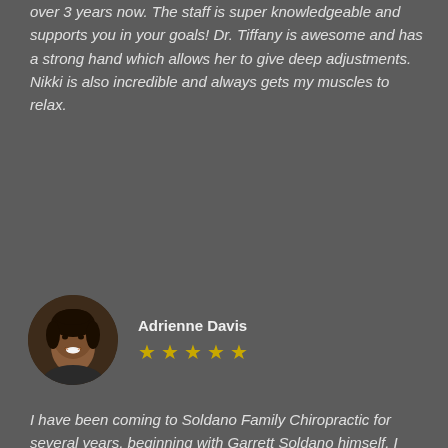over 3 years now. The staff is super knowledgeable and supports you in your goals! Dr. Tiffany is awesome and has a strong hand which allows her to give deep adjustments. Nikki is also incredible and always gets my muscles to relax.
[Figure (photo): Circular profile photo of Adrienne Davis, a smiling woman]
Adrienne Davis
5 star rating (5 gold stars)
I have been coming to Soldano Family Chiropractic for several years, beginning with Garrett Soldano himself. I have always been treated with the utmost value as a client and friend. They take a special interest in their clients and listen to them for their needs and issues. They do a great job of making my life better with treatments and education on chiropractic care. As I get older I need to be able to keep moving and I do